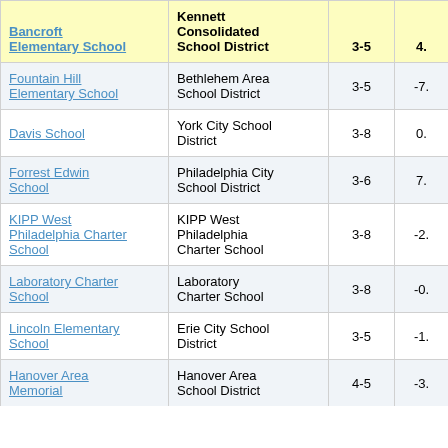| Bancroft Elementary School | Kennett Consolidated School District | 3-5 | 4. |
| --- | --- | --- | --- |
| Fountain Hill Elementary School | Bethlehem Area School District | 3-5 | -7. |
| Davis School | York City School District | 3-8 | 0. |
| Forrest Edwin School | Philadelphia City School District | 3-6 | 7. |
| KIPP West Philadelphia Charter School | KIPP West Philadelphia Charter School | 3-8 | -2. |
| Laboratory Charter School | Laboratory Charter School | 3-8 | -0. |
| Lincoln Elementary School | Erie City School District | 3-5 | -1. |
| Hanover Area Memorial | Hanover Area School District | 4-5 | -3. |